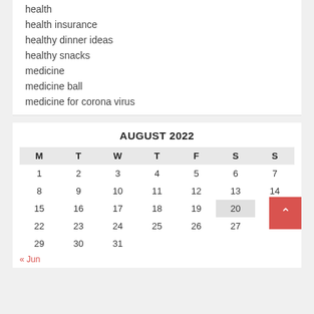health
health insurance
healthy dinner ideas
healthy snacks
medicine
medicine ball
medicine for corona virus
AUGUST 2022
| M | T | W | T | F | S | S |
| --- | --- | --- | --- | --- | --- | --- |
| 1 | 2 | 3 | 4 | 5 | 6 | 7 |
| 8 | 9 | 10 | 11 | 12 | 13 | 14 |
| 15 | 16 | 17 | 18 | 19 | 20 | 21 |
| 22 | 23 | 24 | 25 | 26 | 27 | 28 |
| 29 | 30 | 31 |  |  |  |  |
« Jun